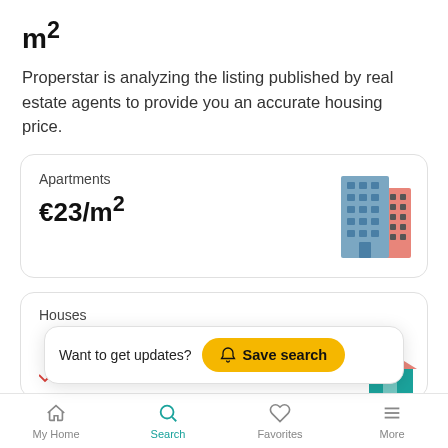m²
Properstar is analyzing the listing published by real estate agents to provide you an accurate housing price.
Apartments
€23/m²
[Figure (illustration): Illustration of a multi-story apartment building in blue and pink colors]
Houses
-5%
[Figure (illustration): Partial illustration of a house with teal/pink colors]
Want to get updates?
Save search
My Home  Search  Favorites  More